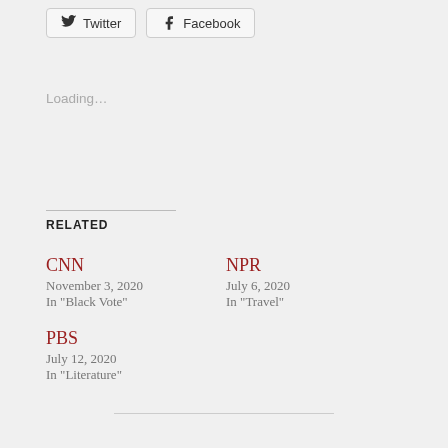[Figure (other): Twitter and Facebook social sharing buttons]
Loading…
RELATED
CNN
November 3, 2020
In "Black Vote"
NPR
July 6, 2020
In "Travel"
PBS
July 12, 2020
In "Literature"